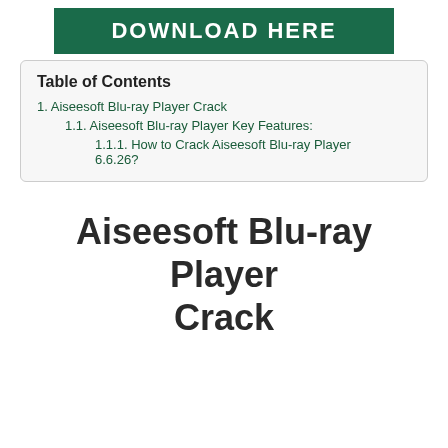[Figure (other): Green banner with white bold text reading DOWNLOAD HERE]
Table of Contents
1. Aiseesoft Blu-ray Player Crack
1.1. Aiseesoft Blu-ray Player Key Features:
1.1.1. How to Crack Aiseesoft Blu-ray Player 6.6.26?
Aiseesoft Blu-ray Player Crack